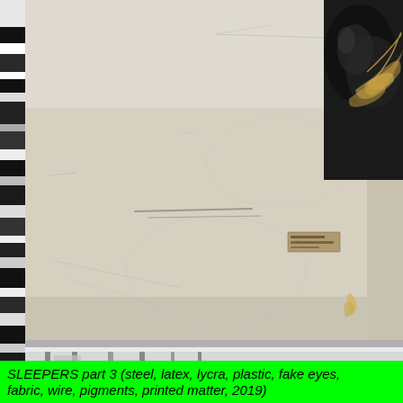[Figure (photo): Close-up photograph of a large crumpled/curved beige or off-white fabric or material surface filling most of the frame. The left edge shows a narrow vertical strip with colorful abstract pattern (green, white, black stripes). The top-right corner shows a dark sculptural object, possibly made of latex and wire with feathers or organic-looking material. The central surface is pale cream/tan with scuffs, scratches, faint marks, and a small brownish label or sticker near the center-middle area. The bottom strip shows industrial machinery or metal rails in a bright white/silver environment. A bright lime green caption bar overlays the very bottom of the image.]
SLEEPERS part 3 (steel, latex, lycra, plastic, fake eyes, fabric, wire, pigments, printed matter, 2019)